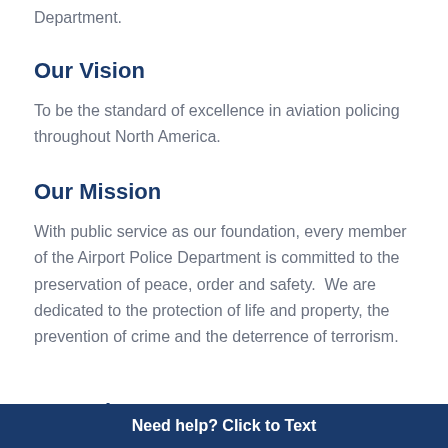Department.
Our Vision
To be the standard of excellence in aviation policing throughout North America.
Our Mission
With public service as our foundation, every member of the Airport Police Department is committed to the preservation of peace, order and safety.  We are dedicated to the protection of life and property, the prevention of crime and the deterrence of terrorism.
Our Values
Need help? Click to Text